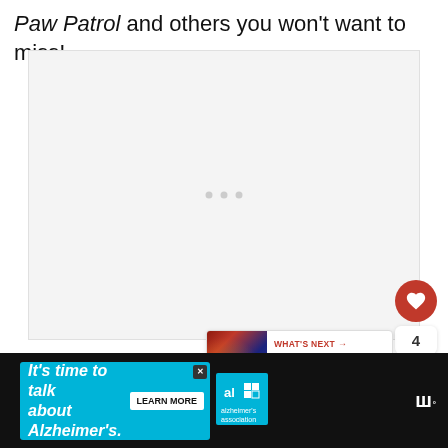Paw Patrol and others you won't want to miss!
[Figure (other): Large light gray content placeholder area with three small gray dots centered]
[Figure (infographic): Red circular heart/like button with white heart icon, count badge showing 4, white circular share button with share icon, partial purple button showing 'op']
[Figure (other): What's Next promo card with thumbnail image and text 'Cape Cod Events...']
[Figure (other): Advertisement banner: It's time to talk about Alzheimer's. LEARN MORE. Alzheimer's Association logo. W logo on black background.]